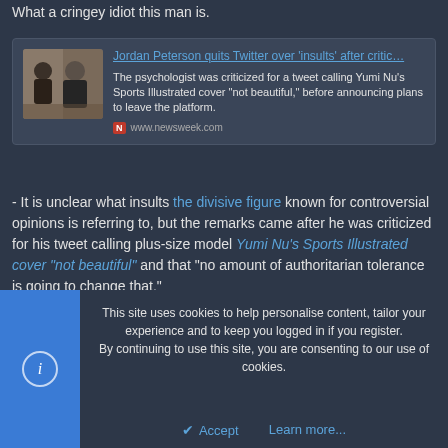What a cringey idiot this man is.
[Figure (screenshot): Link preview card for Newsweek article: Jordan Peterson quits Twitter over 'insults' after criticism. Shows photo of two people. Description: The psychologist was criticized for a tweet calling Yumi Nu's Sports Illustrated cover 'not beautiful,' before announcing plans to leave the platform. Source: www.newsweek.com]
- It is unclear what insults the divisive figure known for controversial opinions is referring to, but the remarks came after he was criticized for his tweet calling plus-size model Yumi Nu's Sports Illustrated cover "not beautiful" and that "no amount of authoritarian tolerance is going to change that."
BrawlMan and Buyetyen
This site uses cookies to help personalise content, tailor your experience and to keep you logged in if you register.
By continuing to use this site, you are consenting to our use of cookies.
Accept    Learn more...